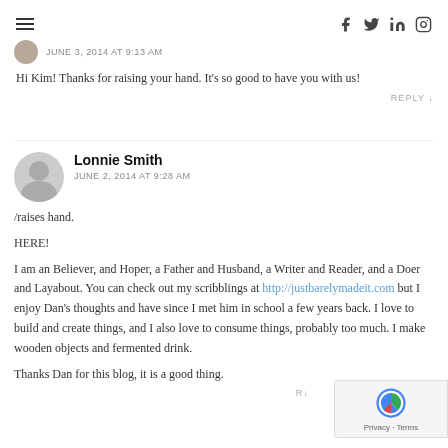≡  [social icons: facebook, twitter, linkedin, instagram]
JUNE 3, 2014 AT 9:13 AM
Hi Kim! Thanks for raising your hand. It's so good to have you with us!
REPLY ↓
Lonnie Smith
JUNE 2, 2014 AT 9:28 AM
/raises hand.
HERE!
I am an Believer, and Hoper, a Father and Husband, a Writer and Reader, and a Doer and Layabout. You can check out my scribblings at http://justbarelymadeit.com but I enjoy Dan's thoughts and have since I met him in school a few years back. I love to build and create things, and I also love to consume things, probably too much. I make wooden objects and fermented drink.
Thanks Dan for this blog, it is a good thing.
REPLY ↓
[Figure (other): reCAPTCHA badge with Privacy and Terms]